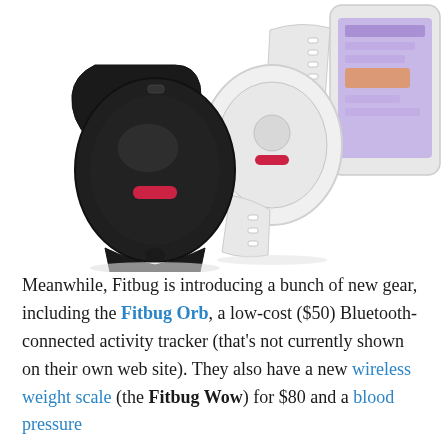[Figure (photo): Photo of two Fitbug fitness trackers: a black oval clip-style tracker on the left and a white wristband tracker on the right, both featuring a red rectangular indicator. A smartphone screen is partially visible in the upper right background.]
Meanwhile, Fitbug is introducing a bunch of new gear, including the Fitbug Orb, a low-cost ($50) Bluetooth-connected activity tracker (that's not currently shown on their own web site). They also have a new wireless weight scale (the Fitbug Wow) for $80 and a blood pressure